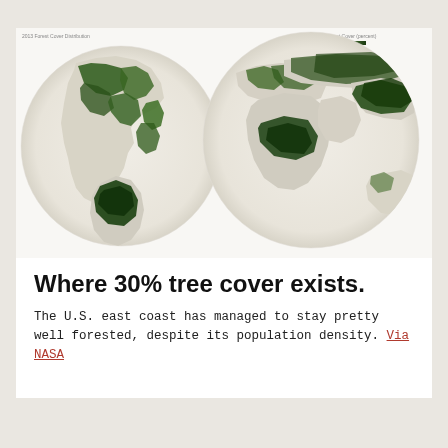[Figure (map): NASA world map showing forest tree cover distribution. Two globe hemispheres displayed side by side with dark green areas indicating 30% tree cover. Shows dense forest coverage in North America east coast, Amazon, Central Africa, and Southeast Asia. Light beige land areas with dark green forest patches on white background.]
Where 30% tree cover exists.
The U.S. east coast has managed to stay pretty well forested, despite its population density. Via NASA